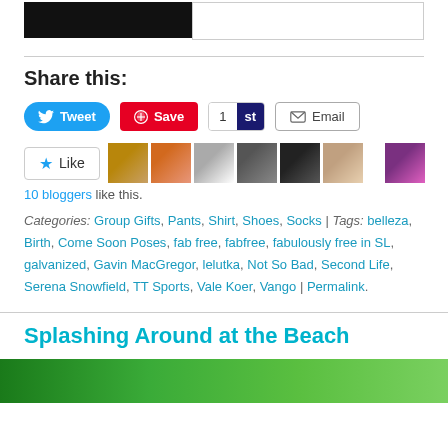[Figure (screenshot): Partial top bar with black image on left and white bordered area on right]
Share this:
[Figure (screenshot): Share buttons: Tweet, Save, 1st, Email]
[Figure (screenshot): Like button with star icon and row of 7 blogger avatars]
10 bloggers like this.
Categories: Group Gifts, Pants, Shirt, Shoes, Socks | Tags: belleza, Birth, Come Soon Poses, fab free, fabfree, fabulously free in SL, galvanized, Gavin MacGregor, lelutka, Not So Bad, Second Life, Serena Snowfield, TT Sports, Vale Koer, Vango | Permalink.
Splashing Around at the Beach
[Figure (photo): Bottom partial photo showing green/tropical scene]